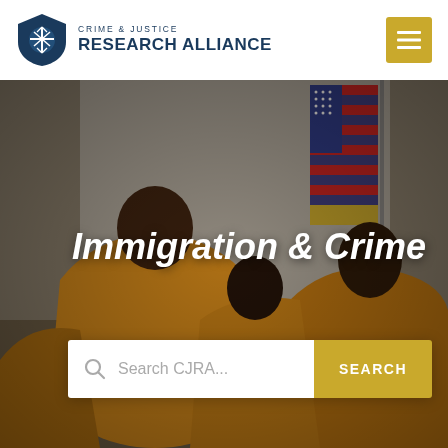Crime & Justice Research Alliance
[Figure (photo): Photo of people wearing orange jumpsuits seated with backs to camera, American flag visible in background. Used as hero banner background for Immigration & Crime topic page on the CJRA website.]
Immigration & Crime
Search CJRA...  SEARCH